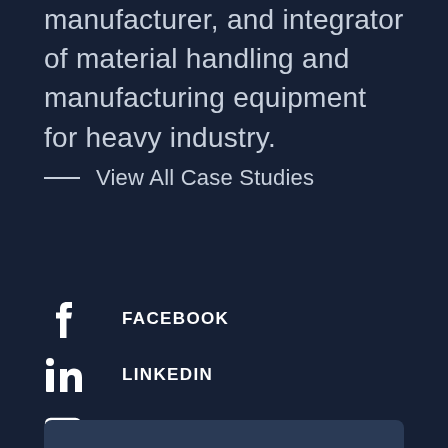manufacturer, and integrator of material handling and manufacturing equipment for heavy industry.
— View All Case Studies
FACEBOOK
LINKEDIN
YOUTUBE